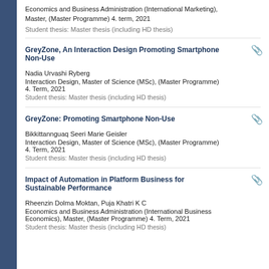Economics and Business Administration (International Marketing), Master, (Master Programme) 4. term, 2021
Student thesis: Master thesis (including HD thesis)
GreyZone, An Interaction Design Promoting Smartphone Non-Use
Nadia Urvashi Ryberg
Interaction Design, Master of Science (MSc), (Master Programme) 4. Term, 2021
Student thesis: Master thesis (including HD thesis)
GreyZone: Promoting Smartphone Non-Use
Bikkittannguaq Seeri Marie Geisler
Interaction Design, Master of Science (MSc), (Master Programme) 4. Term, 2021
Student thesis: Master thesis (including HD thesis)
Impact of Automation in Platform Business for Sustainable Performance
Rheenzin Dolma Moktan, Puja Khatri K C
Economics and Business Administration (International Business Economics), Master, (Master Programme) 4. Term, 2021
Student thesis: Master thesis (including HD thesis)